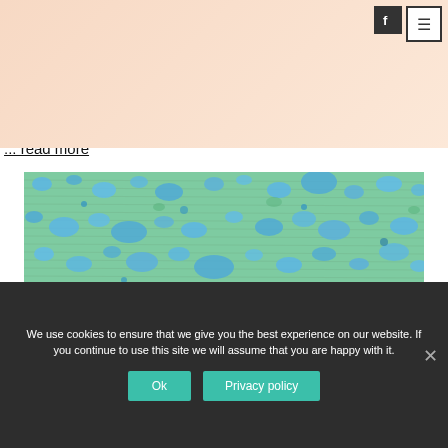Old Gym will be curated by two of our Studio Holders Paula MacArthur and Nick Archer.
Bringing together the work of the studio holders of Rye Creative Centre, VARIATIONS will be a
... read more
[Figure (illustration): Abstract artwork image showing blue and green blotchy textures resembling microscopic or aerial view, with various shades of blue spots and cyan-green background.]
We use cookies to ensure that we give you the best experience on our website. If you continue to use this site we will assume that you are happy with it.
Ok    Privacy policy